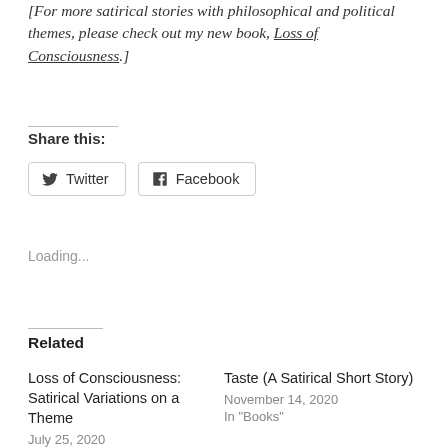[For more satirical stories with philosophical and political themes, please check out my new book, Loss of Consciousness.]
Share this:
[Figure (other): Twitter and Facebook share buttons]
Loading...
Related
Loss of Consciousness: Satirical Variations on a Theme
July 25, 2020
In "brain"
Taste (A Satirical Short Story)
November 14, 2020
In "Books"
A Higher Game – Colored Pencil Drawing
June 9, 2022